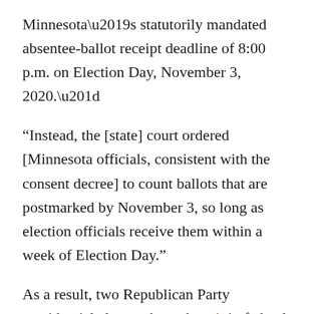Minnesota’s statutorily mandated absentee-ballot receipt deadline of 8:00 p.m. on Election Day, November 3, 2020.”
“Instead, the [state] court ordered [Minnesota officials, consistent with the consent decree] to count ballots that are postmarked by November 3, so long as election officials receive them within a week of Election Day.”
As a result, two Republican Party presidential electors brought suit in federal court challenging the collusive consent decree and the court order approving it as unconstitutional. Specifically, they argued the actions violated the “Electors Clause” in Article II of the Constitution, which grants state legislatures the